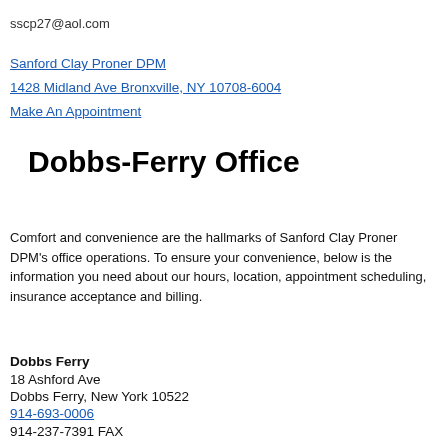sscp27@aol.com
Sanford Clay Proner DPM
1428 Midland Ave Bronxville, NY 10708-6004
Make An Appointment
Dobbs-Ferry Office
Comfort and convenience are the hallmarks of Sanford Clay Proner DPM's office operations. To ensure your convenience, below is the information you need about our hours, location, appointment scheduling, insurance acceptance and billing.
Dobbs Ferry
18 Ashford Ave
Dobbs Ferry, New York 10522
914-693-0006
914-237-7391 FAX